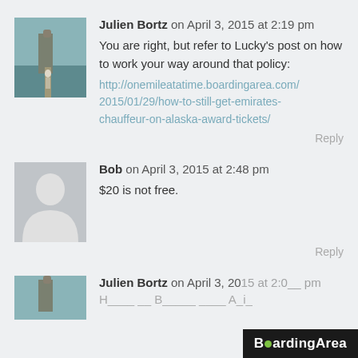Julien Bortz on April 3, 2015 at 2:19 pm
You are right, but refer to Lucky's post on how to work your way around that policy:
http://onemileatatime.boardingarea.com/2015/01/29/how-to-still-get-emirates-chauffeur-on-alaska-award-tickets/
Reply
Bob on April 3, 2015 at 2:48 pm
$20 is not free.
Reply
Julien Bortz on April 3, 2015 at 2:__